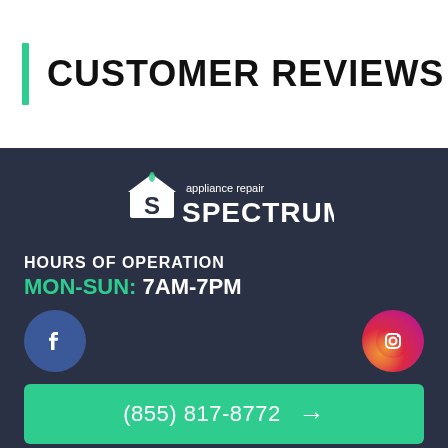CUSTOMER REVIEWS
[Figure (logo): Appliance Repair Spectrum logo with house/S icon in white on dark background]
HOURS OF OPERATION
MON-SUN: 7AM-7PM
[Figure (logo): Facebook circular icon in blue]
[Figure (logo): Instagram circular icon in purple/pink gradient]
(855) 817-8772 →